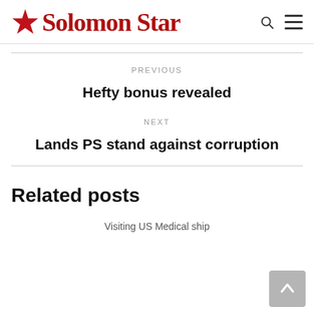Solomon Star
PREVIOUS
Hefty bonus revealed
NEXT
Lands PS stand against corruption
Related posts
Visiting US Medical ship